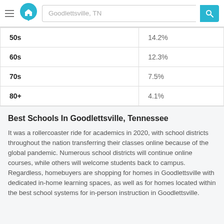Goodlettsville, TN
| 50s | 14.2% |
| 60s | 12.3% |
| 70s | 7.5% |
| 80+ | 4.1% |
Best Schools In Goodlettsville, Tennessee
It was a rollercoaster ride for academics in 2020, with school districts throughout the nation transferring their classes online because of the global pandemic. Numerous school districts will continue online courses, while others will welcome students back to campus. Regardless, homebuyers are shopping for homes in Goodlettsville with dedicated in-home learning spaces, as well as for homes located within the best school systems for in-person instruction in Goodlettsville.